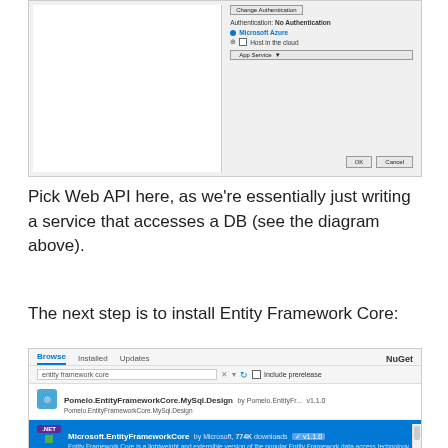[Figure (screenshot): Visual Studio new project dialog showing Authentication: No Authentication option, Microsoft Azure section with 'Host in the cloud' checkbox and App Service dropdown, with OK and Cancel buttons]
Pick Web API here, as we're essentially just writing a service that accesses a DB (see the diagram above).
The next step is to install Entity Framework Core:
[Figure (screenshot): NuGet package manager dialog showing search for 'entity framework core' with results including Pomelo.EntityFrameworkCore.MySql.Design v1.1.0, Microsoft.EntityFrameworkCore by Microsoft 774K downloads v1.1.0 (selected, highlighted in blue), and Microsoft.EntityFrameworkCore.Relational v1.1.0]